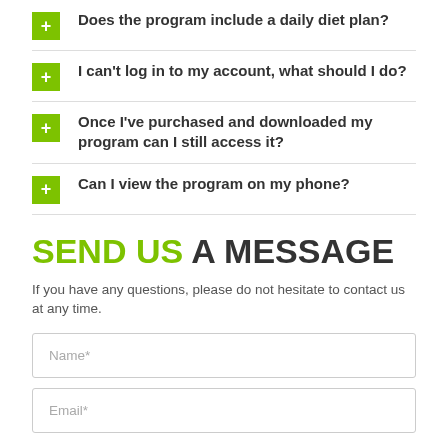Does the program include a daily diet plan?
I can't log in to my account, what should I do?
Once I've purchased and downloaded my program can I still access it?
Can I view the program on my phone?
SEND US A MESSAGE
If you have any questions, please do not hesitate to contact us at any time.
Name*
Email*